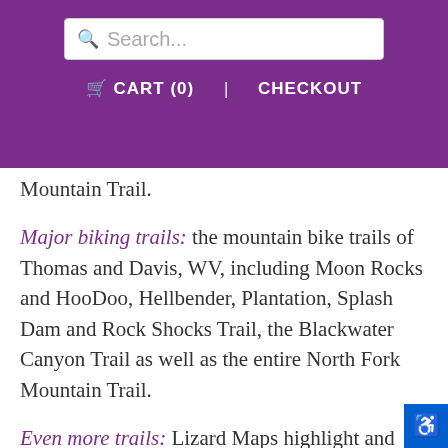Search...  🛒 CART (0)  CHECKOUT
Mountain Trail.
Major biking trails: the mountain bike trails of Thomas and Davis, WV, including Moon Rocks and HooDoo, Hellbender, Plantation, Splash Dam and Rock Shocks Trail, the Blackwater Canyon Trail as well as the entire North Fork Mountain Trail.
Even more trails: Lizard Maps highlight and designate public trails and paths including hiking, biking, equestrian, skiing, snowmobiling and rail trails managed by federal, state and local